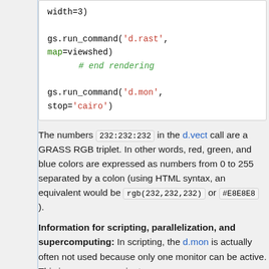[Figure (other): Code block showing gs.run_command calls with 'd.rast', map=viewshed and gs.run_command with 'd.mon', stop='cairo']
The numbers 232:232:232 in the d.vect call are a GRASS RGB triplet. In other words, red, green, and blue colors are expressed as numbers from 0 to 255 separated by a colon (using HTML syntax, an equivalent would be rgb(232,232,232) or #E8E8E8 ).
Information for scripting, parallelization, and supercomputing: In scripting, the d.mon is actually often not used because only one monitor can be active. This is a very convenient